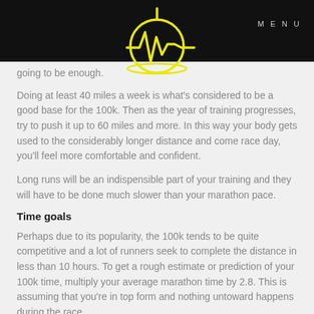MENU
[Figure (logo): Yellow heartbeat/pulse icon inside a circle on black background]
going to be enough.
Doing at least 40 miles a week is what's considered to be a good base for the 100k. Then as the year of training progresses, try to push it up to 60 miles and more. In this way your body gets used to the considerably longer distance and come race day, you'll feel more comfortable and confident.
Long runs will be an indispensible part of your training and they will have to be done much slower than your marathon pace.
Time goals
Perhaps due to its popularity, the 100k tends to be quite competitive and a lot of runners seek to complete the distance in less than 10 hours. To get a rough estimate or prediction of your 100k time, multiply your average marathon time by 2.8. This is assuming that you're in top form and nothing untoward happens during the race.
Yes you're going to be running slower compared to a marathon but